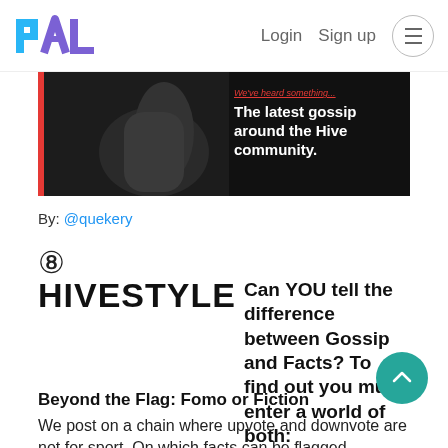PAL — Login  Sign up
[Figure (photo): Dark banner image with a hand/silhouette photo on the left and text overlay on the right reading 'We've heard something... The latest gossip around the Hive community.']
By: @quekery
⑧
HIVESTYLE
Can YOU tell the difference between Gossip and Facts? To find out you must enter a world of both: fomo and desception. A world that is beyond the flag.
Beyond the Flag: Fomo or Fiction
We post on a chain where upvote and downvote are not for sport. On which facts can be flagged...